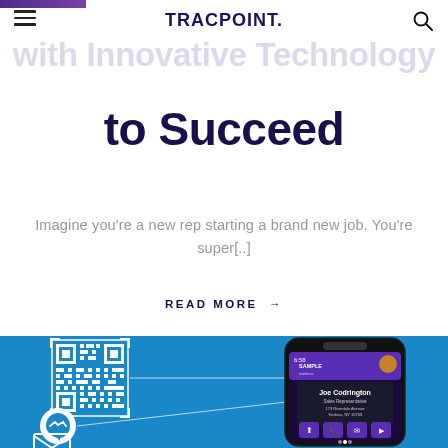TRACPOINT.
with Innovative Technology to Succeed
Imagine you're a new rep starting a brand new job. You're super[..]
READ MORE →
[Figure (illustration): Blue background section showing a QR code, messenger icon, and email icon on the left with lines pointing to a smartphone mockup showing a contact card for Joe Codrington, Sales Representative, with purple branding.]